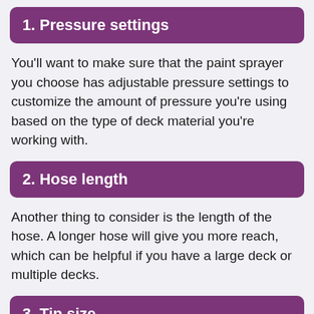1. Pressure settings
You'll want to make sure that the paint sprayer you choose has adjustable pressure settings to customize the amount of pressure you're using based on the type of deck material you're working with.
2. Hose length
Another thing to consider is the length of the hose. A longer hose will give you more reach, which can be helpful if you have a large deck or multiple decks.
3. Tip size